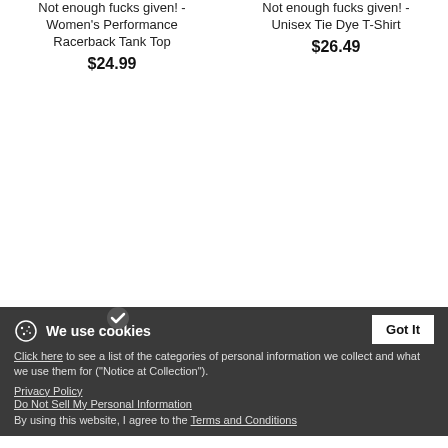Not enough fucks given! - Women's Performance Racerback Tank Top
$24.99
Not enough fucks given! - Unisex Tie Dye T-Shirt
$26.49
Not enough fucks given! - Women's Maternity T-Shirt
$27.99
We use cookies
Click here to see a list of the categories of personal information we collect and what we use them for ("Notice at Collection").
Privacy Policy
Do Not Sell My Personal Information
By using this website, I agree to the Terms and Conditions
Got It